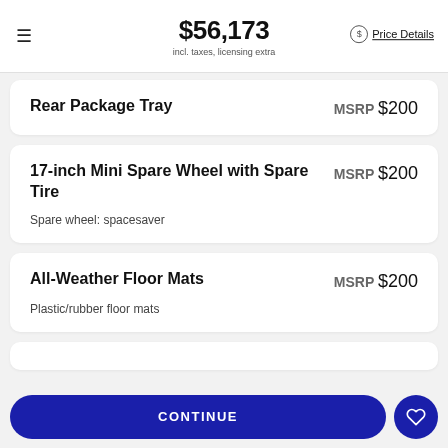$56,173 incl. taxes, licensing extra Price Details
Rear Package Tray MSRP $200
17-inch Mini Spare Wheel with Spare Tire MSRP $200 Spare wheel: spacesaver
All-Weather Floor Mats MSRP $200 Plastic/rubber floor mats
CONTINUE